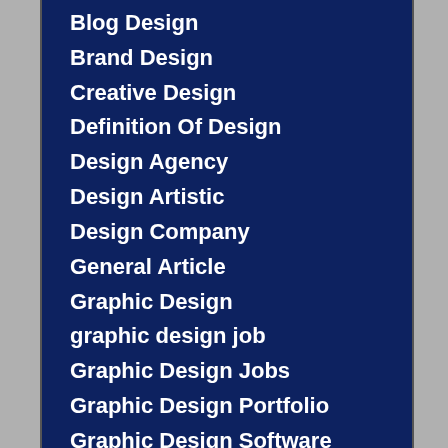Blog Design
Brand Design
Creative Design
Definition Of Design
Design Agency
Design Artistic
Design Company
General Article
Graphic Design
graphic design job
Graphic Design Jobs
Graphic Design Portfolio
Graphic Design Software
Homepage Design